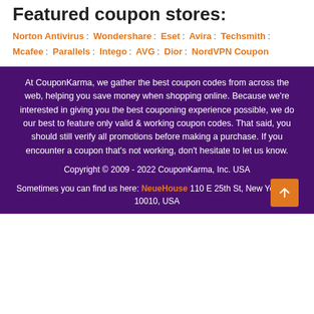Featured coupon stores:
Norton Antivirus : Wondershare : Eset : Avira : Techsmith : Mcafee : Parallels : Intego : AVG : Dior : NordVPN Coupon
At CouponKarma, we gather the best coupon codes from across the web, helping you save money when shopping online. Because we're interested in giving you the best couponing experience possible, we do our best to feature only valid & working coupon codes. That said, you should still verify all promotions before making a purchase. If you encounter a coupon that's not working, don't hesitate to let us know.
Copyright © 2009 - 2022 CouponKarma, Inc. USA
Sometimes you can find us here: NeueHouse 110 E 25th St, New York, NY 10010, USA